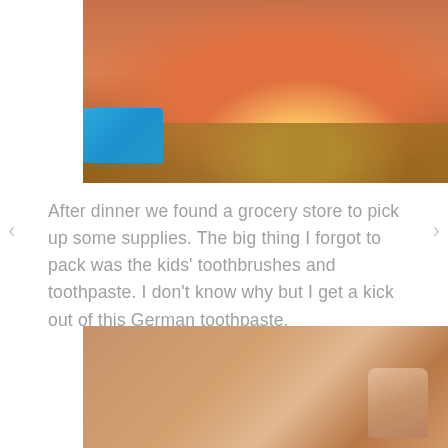[Figure (photo): Photo of a glass with an orange/amber liquid on a wooden table surface, with a blue object visible in the lower left corner]
After dinner we found a grocery store to pick up some supplies. The big thing I forgot to pack was the kids' toothbrushes and toothpaste. I don't know why but I get a kick out of this German toothpaste.
[Figure (photo): Partial photo showing a blurred warm-toned surface with what appears to be a finger or hand in the lower right area]